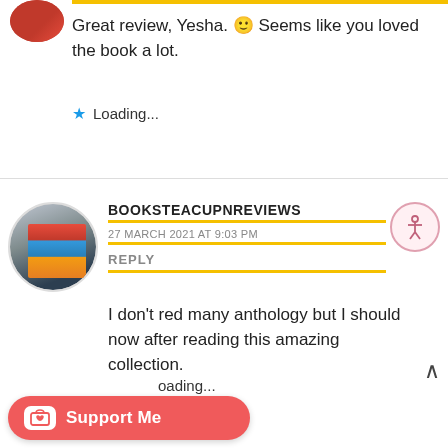Great review, Yesha. 🙂 Seems like you loved the book a lot.
Loading...
BOOKSTEACUPNREVIEWS
27 MARCH 2021 AT 9:03 PM
REPLY
I don't red many anthology but I should now after reading this amazing collection.
Loading...
Support Me